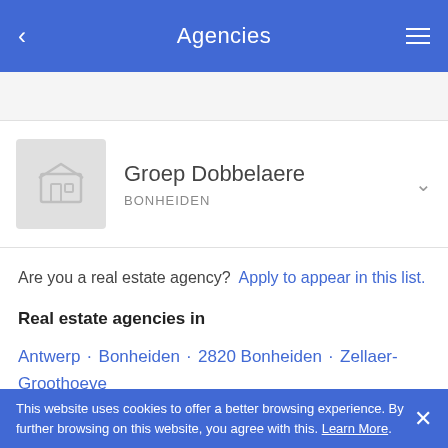Agencies
[Figure (screenshot): Agency listing entry for Groep Dobbelaere, BONHEIDEN, with a grey placeholder logo and a dropdown chevron]
Are you a real estate agency? Apply to appear in this list.
Real estate agencies in
Antwerp · Bonheiden · 2820 Bonheiden · Zellaer-Groothoeve
Beffervelden   Berentrode   Bonheiden-Centrum   Diedonken   Mechels Broek   Otterskoek - Dorstveld
This website uses cookies to offer a better browsing experience. By further browsing on this website, you agree with this. Learn More.